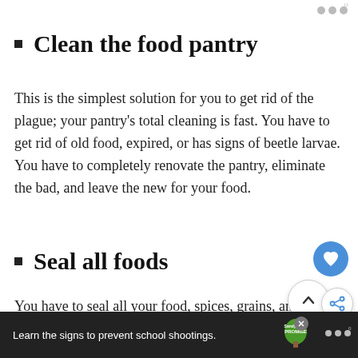Clean the food pantry
This is the simplest solution for you to get rid of the plague; your pantry's total cleaning is fast. You have to get rid of old food, expired, or has signs of beetle larvae. You have to completely renovate the pantry, eliminate the bad, and leave the new for your food.
Seal all foods
You have to seal all your food, spices, grains, among others, to prevent beetles from trying to enter. Yo... buy some glass jars to put food in to avoid this and... pests. With this action, you contribute to the idea of
Learn the signs to prevent school shootings. Sandy Hook PROMISE